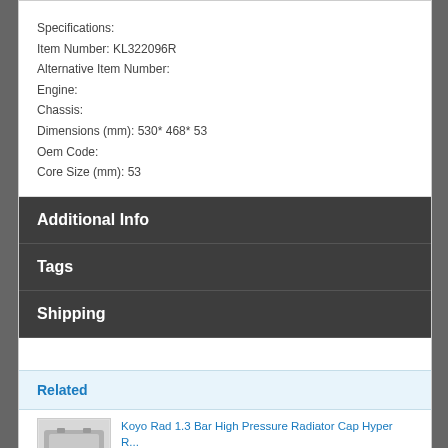Specifications:
Item Number: KL322096R
Alternative Item Number:
Engine:
Chassis:
Dimensions (mm): 530* 468* 53
Oem Code:
Core Size (mm): 53
Additional Info
Tags
Shipping
Related
Koyo Rad 1.3 Bar High Pressure Radiator Cap Hyper R...